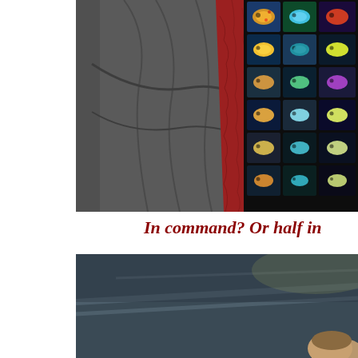[Figure (photo): Close-up photo showing a dark grey leather chair or seat on the left side, with a red textured fabric visible in the middle, and a colorful shirt or textile with fish/tropical marine life pattern on a black background on the right side.]
In command? Or half in
[Figure (photo): Lower photo showing a dark blue-grey background with light streaks and the top of a person's head visible at the bottom right corner.]